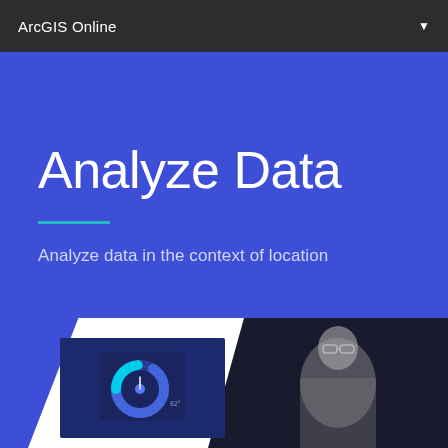ArcGIS Online
Analyze Data
Analyze data in the context of location
[Figure (screenshot): Screenshot of ArcGIS Online app showing a donut/gauge chart with '82°' temperature reading on a dark blue card, and a partial photo of a person wearing glasses against a dark background]